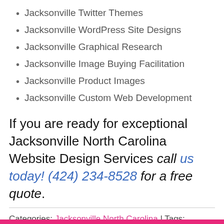Jacksonville Twitter Themes
Jacksonville WordPress Site Designs
Jacksonville Graphical Research
Jacksonville Image Buying Facilitation
Jacksonville Product Images
Jacksonville Custom Web Development
If you are ready for exceptional Jacksonville North Carolina Website Design Services call us today! (424) 234-8528 for a free quote.
Categories: Jacksonville North Carolina | Tags: Jacksonville web design, North Carolina web design